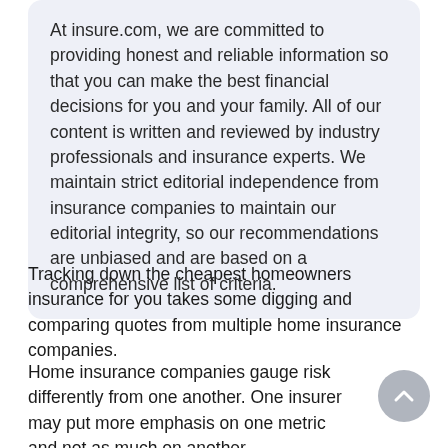At insure.com, we are committed to providing honest and reliable information so that you can make the best financial decisions for you and your family. All of our content is written and reviewed by industry professionals and insurance experts. We maintain strict editorial independence from insurance companies to maintain our editorial integrity, so our recommendations are unbiased and are based on a comprehensive list of criteria.
Tracking down the cheapest homeowners insurance for you takes some digging and comparing quotes from multiple home insurance companies.
Home insurance companies gauge risk differently from one another. One insurer may put more emphasis on one metric and not as much on another.